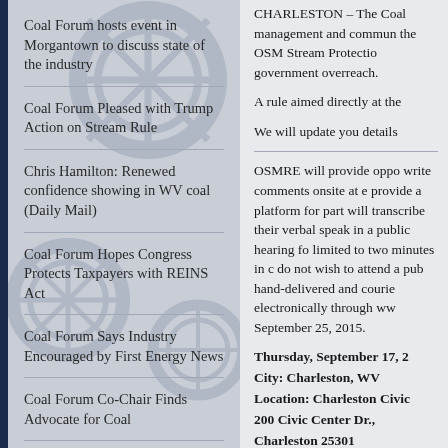Coal Forum hosts event in Morgantown to discuss state of the industry
Coal Forum Pleased with Trump Action on Stream Rule
Chris Hamilton: Renewed confidence showing in WV coal (Daily Mail)
Coal Forum Hopes Congress Protects Taxpayers with REINS Act
Coal Forum Says Industry Encouraged by First Energy News
Coal Forum Co-Chair Finds Advocate for Coal
Statement by WV Coal Forum Co-Chairmen Chris Hamilton and Fred Taylor Concerning Presidential...
CHARLESTON – The Coal management and commun the OSM Stream Protectio government overreach.
A rule aimed directly at the
We will update you details
OSMRE will provide oppo write comments onsite at e provide a platform for part will transcribe their verbal speak in a public hearing fo limited to two minutes in c do not wish to attend a pub hand-delivered and courie electronically through ww September 25, 2015.
Thursday, September 17, 2
City: Charleston, WV
Location: Charleston Civic
200 Civic Center Dr.,
Charleston 25301
Time: 5:00 p.m. – 9:00 p.m